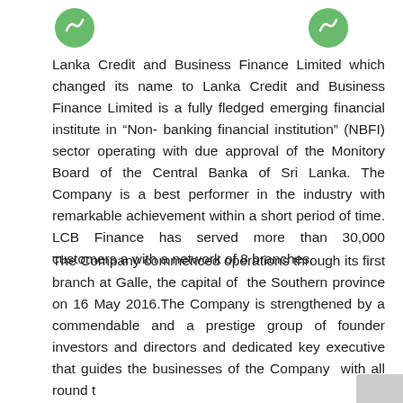[Figure (illustration): Two green circular icons/logos at the top of the page, partially cropped]
Lanka Credit and Business Finance Limited which changed its name to Lanka Credit and Business Finance Limited is a fully fledged emerging financial institute in “Non- banking financial institution” (NBFI) sector operating with due approval of the Monitory Board of the Central Banka of Sri Lanka. The Company is a best performer in the industry with remarkable achievement within a short period of time. LCB Finance has served more than 30,000 customers a with a network of 8 branches.
The Company commenced operations through its first branch at Galle, the capital of the Southern province on 16 May 2016.The Company is strengthened by a commendable and a prestige group of founder investors and directors and dedicated key executive that guides the businesses of the Company...